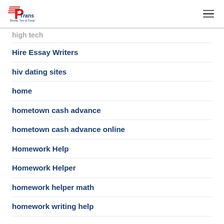PTrans Shuttle, Tour & Travel
high tech
Hire Essay Writers
hiv dating sites
home
hometown cash advance
hometown cash advance online
Homework Help
Homework Helper
homework helper math
homework writing help